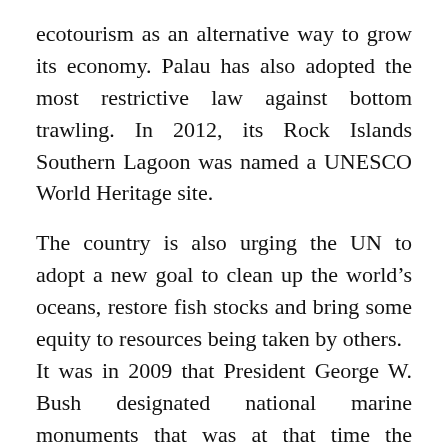ecotourism as an alternative way to grow its economy. Palau has also adopted the most restrictive law against bottom trawling. In 2012, its Rock Islands Southern Lagoon was named a UNESCO World Heritage site.
The country is also urging the UN to adopt a new goal to clean up the world's oceans, restore fish stocks and bring some equity to resources being taken by others. It was in 2009 that President George W. Bush designated national marine monuments that was at that time the largest marine conservation effort in history.
The three areas, totaling some 195,274 square miles, included the Mariana Trench and the waters and corals surrounding three uninhabited islands in the Northern Mariana Islands, Rose Atoll in American Samoa, and seven islands strung along the equator in the central